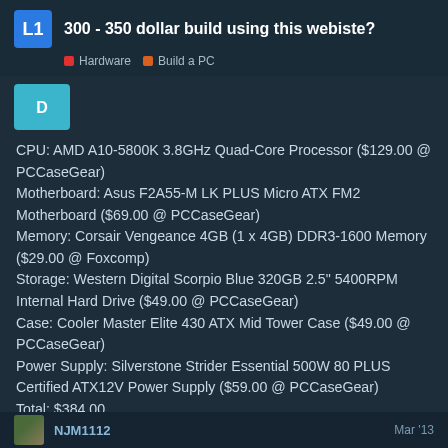300 - 350 dollar build using this webiste?
CPU: AMD A10-5800K 3.8GHz Quad-Core Processor ($129.00 @ PCCaseGear)
Motherboard: Asus F2A55-M LK PLUS Micro ATX FM2 Motherboard ($69.00 @ PCCaseGear)
Memory: Corsair Vengeance 4GB (1 x 4GB) DDR3-1600 Memory ($29.00 @ Foxcomp)
Storage: Western Digital Scorpio Blue 320GB 2.5" 5400RPM Internal Hard Drive ($49.00 @ PCCaseGear)
Case: Cooler Master Elite 430 ATX Mid Tower Case ($49.00 @ PCCaseGear)
Power Supply: Silverstone Strider Essential 500W 80 PLUS Certified ATX12V Power Supply ($59.00 @ PCCaseGear)
Total: $384.00
NJM1112  Mar '13